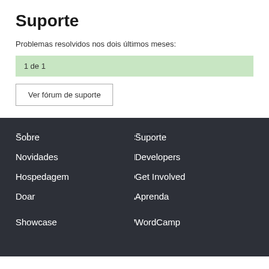Suporte
Problemas resolvidos nos dois últimos meses:
1 de 1
Ver fórum de suporte
Sobre
Suporte
Novidades
Developers
Hospedagem
Get Involved
Doar
Aprenda
Showcase
WordCamp